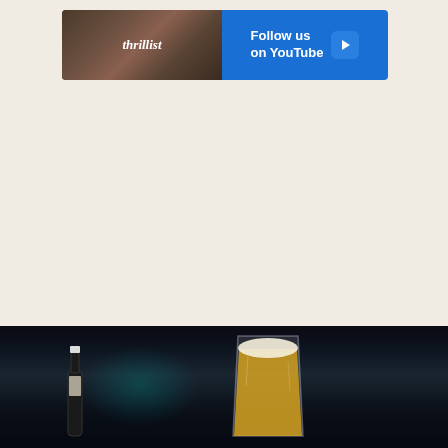[Figure (screenshot): Thrillist advertisement banner: Thrillist logo on left with food/person photo background, right side blue with 'Follow us on YouTube' text and play button]
[Figure (photo): Dark bar scene showing a beer bottle on left and a pint glass of golden beer on right against a dark background with teal lighting]